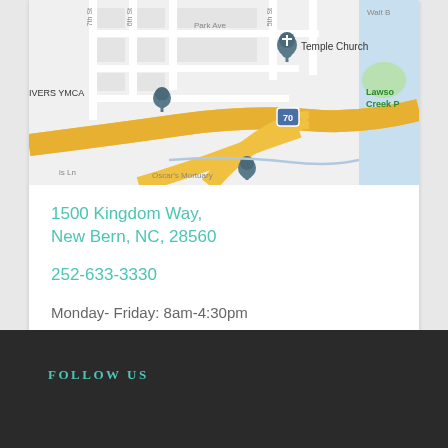[Figure (map): Google Maps screenshot showing street map of New Bern, NC area with highway 70, Temple Church marker, IVERS YMCA marker, Oscar's Mortuary, Lawson Creek Park, Park Ave, and surrounding streets]
1500 Kingdom Way,
New Bern, NC, 28560
252-633-3330
Monday- Friday: 8am-4:30pm
Sunday: 8am-12pm
FOLLOW US